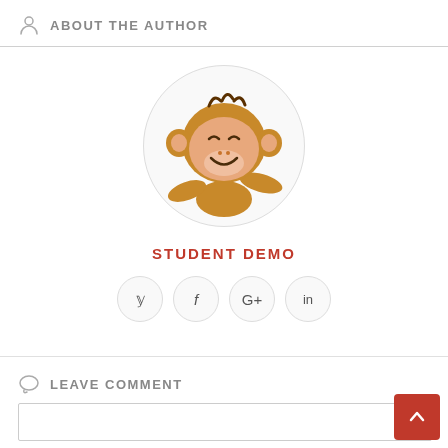ABOUT THE AUTHOR
[Figure (illustration): Circular avatar of a cartoon smiling monkey with brown fur and pink face, arms raised]
STUDENT DEMO
[Figure (infographic): Four circular social media icon buttons: Twitter (y), Facebook (f), Google+ (G+), LinkedIn (in)]
LEAVE COMMENT
[Figure (other): Empty comment text input field]